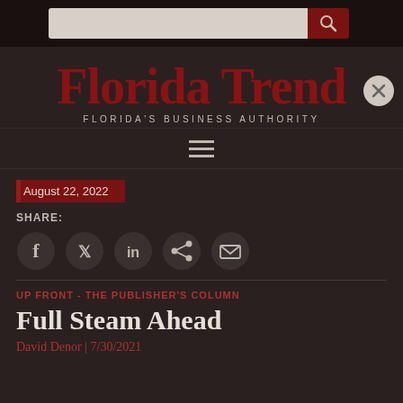[Figure (screenshot): Website header with search bar and dark background]
Florida Trend
FLORIDA'S BUSINESS AUTHORITY
August 22, 2022
SHARE:
[Figure (other): Social media share icons: Facebook, Twitter, LinkedIn, Share, Email]
UP FRONT - THE PUBLISHER'S COLUMN
Full Steam Ahead
David Denor | 7/30/2021